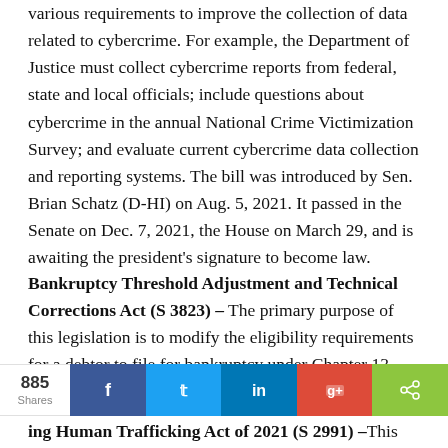various requirements to improve the collection of data related to cybercrime. For example, the Department of Justice must collect cybercrime reports from federal, state and local officials; include questions about cybercrime in the annual National Crime Victimization Survey; and evaluate current cybercrime data collection and reporting systems. The bill was introduced by Sen. Brian Schatz (D-HI) on Aug. 5, 2021. It passed in the Senate on Dec. 7, 2021, the House on March 29, and is awaiting the president's signature to become law.
Bankruptcy Threshold Adjustment and Technical Corrections Act (S 3823) – The primary purpose of this legislation is to modify the eligibility requirements for a debtor to file for bankruptcy under Chapter 13. Specifically, only an individual (or an individual's spouse, except a stockbroker or a commodity broker) with regular income that owes aggregated debt of less than $2,750,000 may file as a debtor under Chapter 13. The bill was introduced by Sen. Chuck Grassley (R-IA) on March 14 and passed in the Senate on April 7. It is currently
ing Human Trafficking Act of 2021 (S 2991) – This